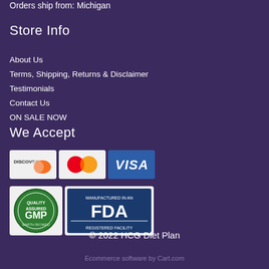Orders ship from: Michigan
Store Info
About Us
Terms, Shipping, Returns & Disclaimer
Testimonials
Contact Us
ON SALE NOW
We Accept
[Figure (logo): Payment method logos: Discover, Mastercard, Visa]
[Figure (logo): Certification badges: GMP Quality Assured, FDA Registered Facility]
© 2022 HCG Diet Plan
Ecommerce software by Cart.com